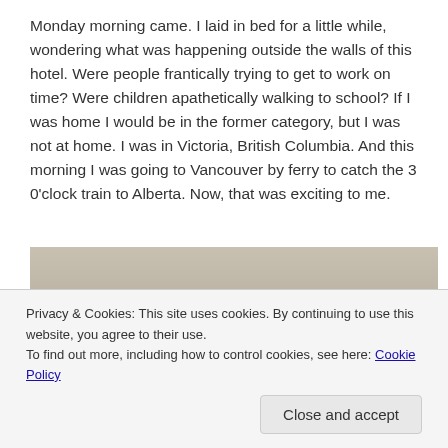Monday morning came. I laid in bed for a little while, wondering what was happening outside the walls of this hotel. Were people frantically trying to get to work on time? Were children apathetically walking to school? If I was home I would be in the former category, but I was not at home. I was in Victoria, British Columbia. And this morning I was going to Vancouver by ferry to catch the 3 0'clock train to Alberta. Now, that was exciting to me.
[Figure (photo): Partial photo of a hotel room or interior space, partially obscured by cookie consent banner]
Privacy & Cookies: This site uses cookies. By continuing to use this website, you agree to their use.
To find out more, including how to control cookies, see here: Cookie Policy
Close and accept